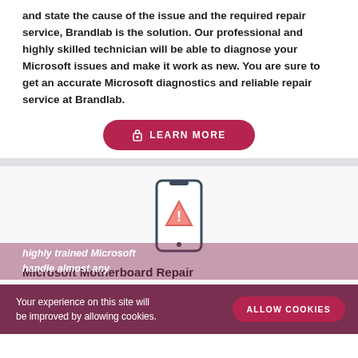and state the cause of the issue and the required repair service, Brandlab is the solution. Our professional and highly skilled technician will be able to diagnose your Microsoft issues and make it work as new. You are sure to get an accurate Microsoft diagnostics and reliable repair service at Brandlab.
[Figure (illustration): A pink/red rounded button with a lock icon and the text LEARN MORE]
[Figure (illustration): A smartphone icon with a warning/alert triangle symbol on the screen]
Microsoft Motherboard Repair
Your experience on this site will be improved by allowing cookies.
[Figure (illustration): ALLOW COOKIES button]